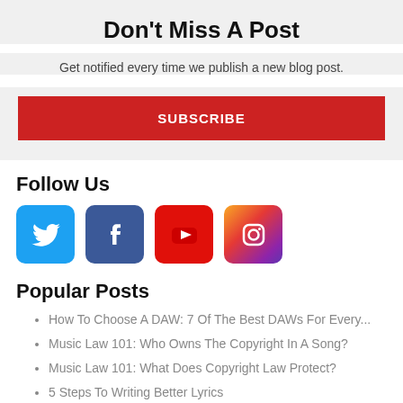Don't Miss A Post
Get notified every time we publish a new blog post.
SUBSCRIBE
Follow Us
[Figure (infographic): Four social media icons: Twitter (blue bird), Facebook (blue f), YouTube (red play button), Instagram (gradient camera)]
Popular Posts
How To Choose A DAW: 7 Of The Best DAWs For Every...
Music Law 101: Who Owns The Copyright In A Song?
Music Law 101: What Does Copyright Law Protect?
5 Steps To Writing Better Lyrics
5 Secrets To Making Your Sub-bass Notes Audible